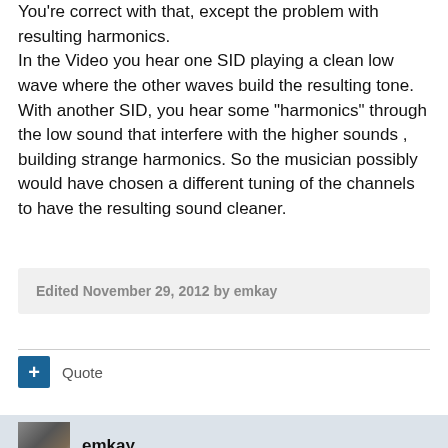You're correct with that, except the problem with resulting harmonics.
In the Video you hear one SID playing a clean low wave where the other waves build the resulting tone.
With another SID, you hear some "harmonics" through the low sound that interfere with the higher sounds , building strange harmonics. So the musician possibly would have chosen a different tuning of the channels to have the resulting sound cleaner.
Edited November 29, 2012 by emkay
Quote
emkay